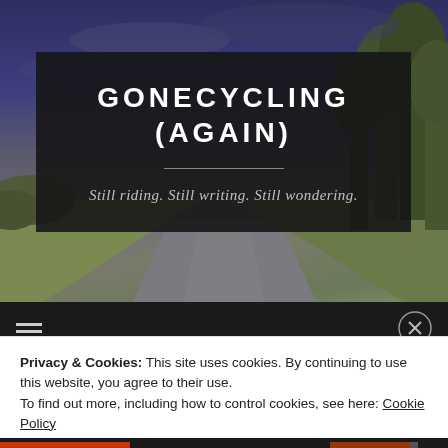[Figure (photo): Rural road vanishing into distance with trees on right side and stormy blue-purple sky, serving as website header background image]
GONECYCLING (AGAIN)
Still riding. Still writing. Still wondering.
Privacy & Cookies: This site uses cookies. By continuing to use this website, you agree to their use.
To find out more, including how to control cookies, see here: Cookie Policy
Close and accept